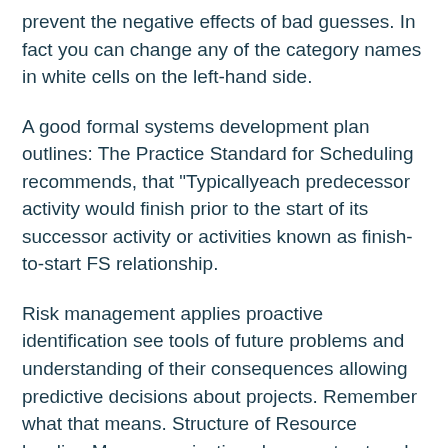prevent the negative effects of bad guesses. In fact you can change any of the category names in white cells on the left-hand side.
A good formal systems development plan outlines: The Practice Standard for Scheduling recommends, that "Typicallyeach predecessor activity would finish prior to the start of its successor activity or activities known as finish-to-start FS relationship.
Risk management applies proactive identification see tools of future problems and understanding of their consequences allowing predictive decisions about projects. Remember what that means. Structure of Resource leveling Many organizations have a structured hierarchy of resource leveling.